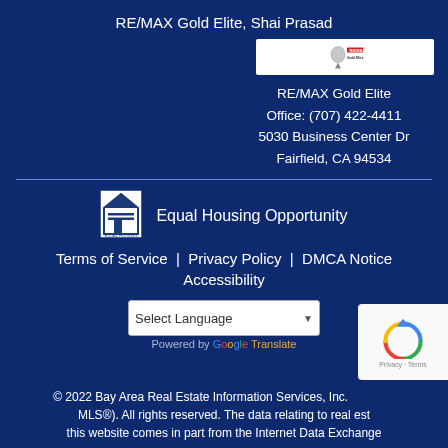RE/MAX Gold Elite, Shai Prasad
[Figure (logo): RE/MAX balloon logo in white box with registered trademark symbol]
RE/MAX Gold Elite
Office: (707) 422-4411
5030 Business Center Dr
Fairfield, CA 94534
[Figure (logo): Equal Housing Opportunity logo — house with equal sign]
Equal Housing Opportunity
Terms of Service | Privacy Policy | DMCA Notice
Accessibility
Select Language — Powered by Google Translate
© 2022 Bay Area Real Estate Information Services, Inc. (BAREIS MLS®). All rights reserved. The data relating to real estate on this website comes in part from the Internet Data Exchange